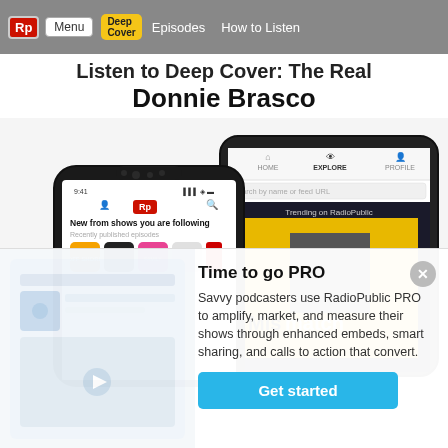Rp | Menu | Deep Cover (badge) | Episodes | How to Listen
Listen to Deep Cover: The Real Donnie Brasco
[Figure (screenshot): Two smartphones showing the RadioPublic app — one displaying 'New from shows you are following / Recently published episodes' with podcast artwork, another showing the Explore tab with 'Trending on RadioPublic' and a Mismatch podcast tile]
Time to go PRO
Savvy podcasters use RadioPublic PRO to amplify, market, and measure their shows through enhanced embeds, smart sharing, and calls to action that convert.
Get started